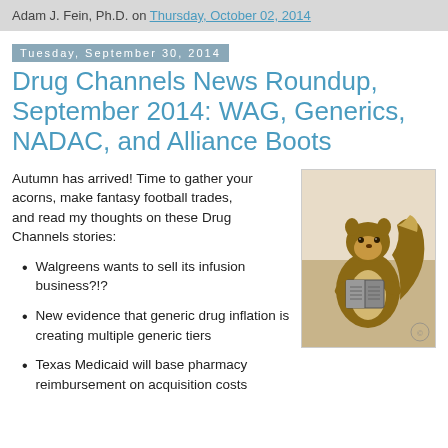Adam J. Fein, Ph.D. on Thursday, October 02, 2014
Tuesday, September 30, 2014
Drug Channels News Roundup, September 2014: WAG, Generics, NADAC, and Alliance Boots
Autumn has arrived! Time to gather your acorns, make fantasy football trades, and read my thoughts on these Drug Channels stories:
[Figure (photo): A squirrel holding and reading a small book]
Walgreens wants to sell its infusion business?!?
New evidence that generic drug inflation is creating multiple generic tiers
Texas Medicaid will base pharmacy reimbursement on acquisition costs